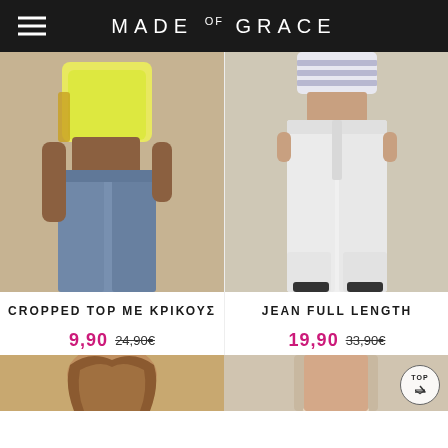MADE OF GRACE
[Figure (photo): Woman wearing yellow cropped top with chain detail and light blue wide-leg jeans, cropped view showing torso and legs]
CROPPED TOP ME ΚΡΙΚΟΥΣ
9,90  24,90€
[Figure (photo): Woman wearing striped crop top and white wide-leg full length jeans, standing against beige fabric backdrop]
JEAN FULL LENGTH
19,90  33,90€
[Figure (photo): Partial view of woman with wavy hair, bottom of page left product]
[Figure (photo): Partial view of woman in halter top, bottom of page right product]